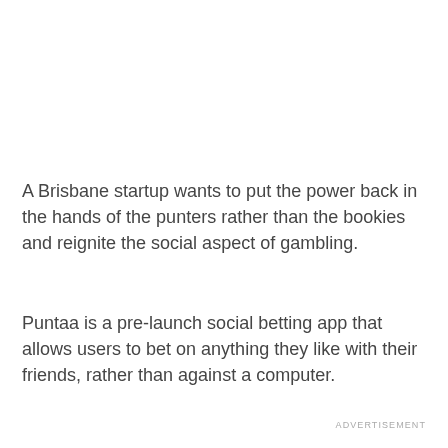A Brisbane startup wants to put the power back in the hands of the punters rather than the bookies and reignite the social aspect of gambling.
Puntaa is a pre-launch social betting app that allows users to bet on anything they like with their friends, rather than against a computer.
ADVERTISEMENT